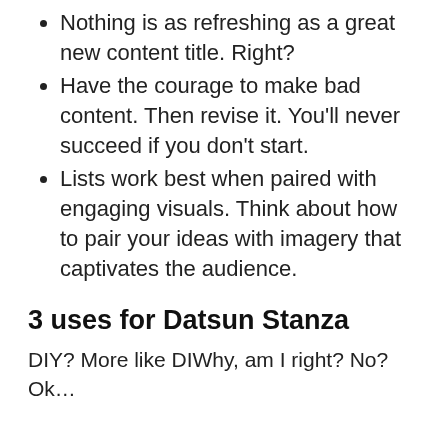Nothing is as refreshing as a great new content title. Right?
Have the courage to make bad content. Then revise it. You'll never succeed if you don't start.
Lists work best when paired with engaging visuals. Think about how to pair your ideas with imagery that captivates the audience.
3 uses for Datsun Stanza
DIY? More like DIWhy, am I right? No? Ok…